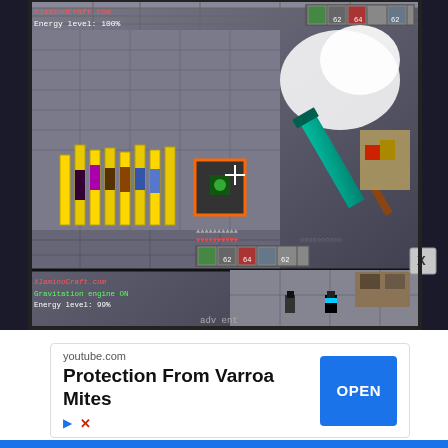[Figure (screenshot): Minecraft gameplay screenshot showing a split-screen view. Top portion shows a player holding a teal/diamond sword with yellow pillars and colored blocks in background. HUD shows inventory bar with items (62, 64, 62 counts), energy level 100%, and URL 'XlaminoCraft.com' in red. Bottom portion shows 'Gravitation engine ON', 'Energy level: 99%', player character in gray stone area. A circular X button appears in bottom right of the screenshot area.]
youtube.com
Protection From Varroa Mites
OPEN